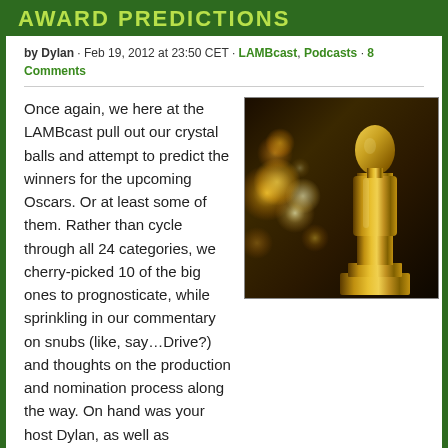AWARD PREDICTIONS
by Dylan · Feb 19, 2012 at 23:50 CET · LAMBcast, Podcasts · 8 Comments
[Figure (photo): Gold Oscar statuette in close-up with bokeh background lighting]
Once again, we here at the LAMBcast pull out our crystal balls and attempt to predict the winners for the upcoming Oscars. Or at least some of them. Rather than cycle through all 24 categories, we cherry-picked 10 of the big ones to prognosticate, while sprinkling in our commentary on snubs (like, say…Drive?) and thoughts on the production and nomination process along the way. On hand was your host Dylan, as well as LAMBcast regulars...